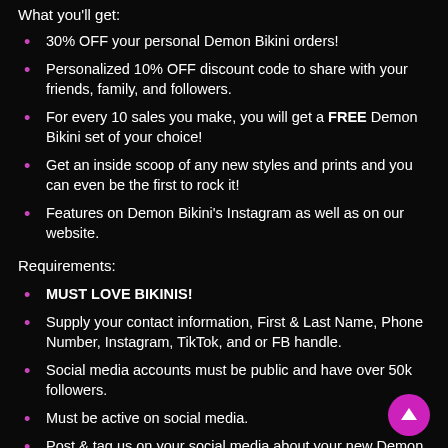What you'll get:
30% OFF your personal Demon Bikini orders!
Personalized 10% OFF discount code to share with your friends, family, and followers.
For every 10 sales you make, you will get a FREE Demon Bikini set of your choice!
Get an inside scoop of any new styles and prints and you can even be the first to rock it!
Features on Demon Bikini's Instagram as well as on our website.
Requirements:
MUST LOVE BIKINIS!
Supply your contact information, First & Last Name, Phone Number, Instagram, TikTok, and or FB handle.
Social media accounts must be public and have over 50k followers.
Must be active on social media.
Post & tag us on your social media about your new Demon